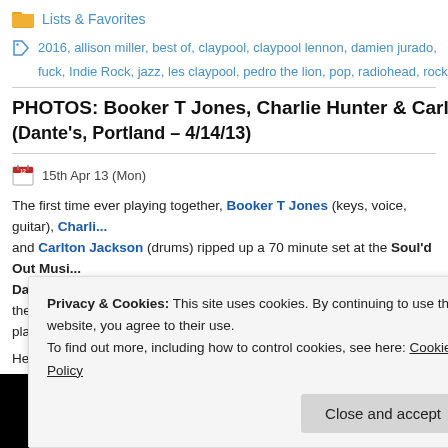Lists & Favorites
2016, allison miller, best of, claypool, claypool lennon, damien jurado, danielson, d... fuck, Indie Rock, jazz, les claypool, pedro the lion, pop, radiohead, rock, sean lenn...
PHOTOS: Booker T Jones, Charlie Hunter & Carlton Jackson @ Sou... (Dante's, Portland – 4/14/13)
15th Apr 13 (Mon)
The first time ever playing together, Booker T Jones (keys, voice, guitar), Charli... and Carlton Jackson (drums) ripped up a 70 minute set at the Soul'd Out Musi... Dante's in Portland.  Booker T. actually played on many of, if not all of, the studio... played last night… such a legend!!
Here are some photos and the setlist:
[Figure (photo): Photo strip showing concert stage lighting with blue spotlight and red-lit stage, with partial text overlay reading BOOKER T. JO...]
Privacy & Cookies: This site uses cookies. By continuing to use this website, you agree to their use.
To find out more, including how to control cookies, see here: Cookie Policy
Close and accept